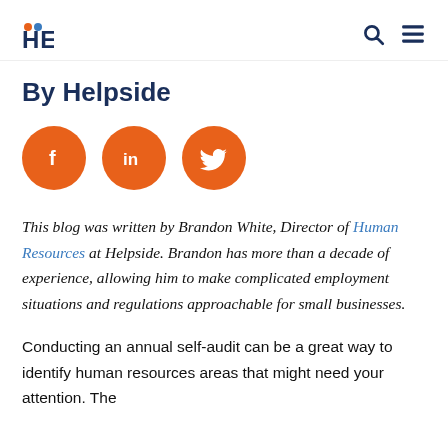HELPSIDE
By Helpside
[Figure (illustration): Three orange circular social media buttons: Facebook (f), LinkedIn (in), Twitter (bird icon)]
This blog was written by Brandon White, Director of Human Resources at Helpside. Brandon has more than a decade of experience, allowing him to make complicated employment situations and regulations approachable for small businesses.
Conducting an annual self-audit can be a great way to identify human resources areas that might need your attention. The